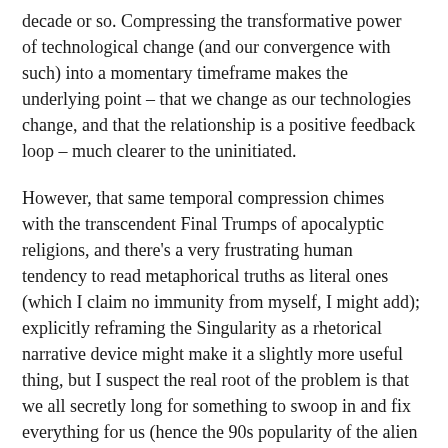decade or so. Compressing the transformative power of technological change (and our convergence with such) into a momentary timeframe makes the underlying point – that we change as our technologies change, and that the relationship is a positive feedback loop – much clearer to the uninitiated.
However, that same temporal compression chimes with the transcendent Final Trumps of apocalyptic religions, and there's a very frustrating human tendency to read metaphorical truths as literal ones (which I claim no immunity from myself, I might add); explicitly reframing the Singularity as a rhetorical narrative device might make it a slightly more useful thing, but I suspect the real root of the problem is that we all secretly long for something to swoop in and fix everything for us (hence the 90s popularity of the alien intervention narrative – surely an extant intelligence greater than [or perhaps merely different to] our own offers hope of us surviving our imminent civilisational bottlenecks?).The Singularity's seductiveness lies in its tendency to brush aside unanswerable questions.